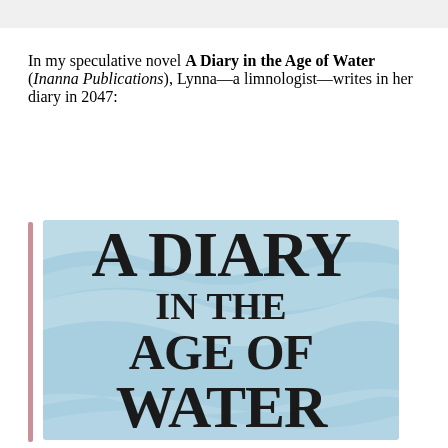In my speculative novel A Diary in the Age of Water (Inanna Publications), Lynna—a limnologist—writes in her diary in 2047:
[Figure (illustration): Book cover of 'A Diary in the Age of Water' with light blue water-wave background and bold black serif text displaying the title in large stacked letters.]